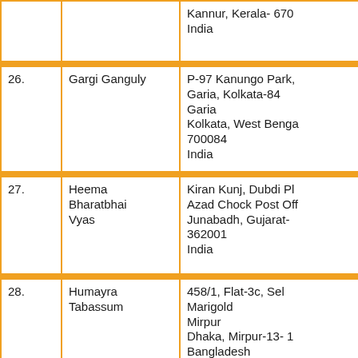| No. | Name | Address |
| --- | --- | --- |
|  |  | Kannur, Kerala- 670
India |
| 26. | Gargi Ganguly | P-97 Kanungo Park,
Garia, Kolkata-84
Garia
Kolkata, West Benga
700084
India |
| 27. | Heema
Bharatbhai
Vyas | Kiran Kunj, Dubdi Pl
Azad Chock Post Off
Junabadh, Gujarat-
362001
India |
| 28. | Humayra
Tabassum | 458/1, Flat-3c, Sel
Marigold
Mirpur
Dhaka, Mirpur-13- 1
Bangladesh |
| 29. | Inmozhi T. I. | G2, Vijayamaruthi
Apartments, 1034, T |